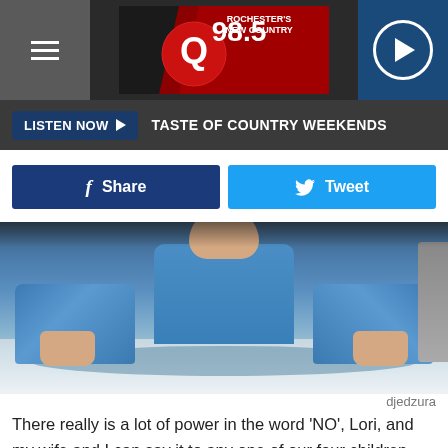Q98.5 ROCHESTER'S NEW COUNTRY
LISTEN NOW ▶  TASTE OF COUNTRY WEEKENDS
[Figure (screenshot): Share and Tweet social media buttons]
[Figure (photo): Child in blue hoodie at table holding fork and knife, ready to eat]
djedzura
There really is a lot of power in the word 'NO', Lori, and my wife and I can say it to any one of our four children when they ask for unhealthy things.
Do you intend to make the restaurant not pair chicken